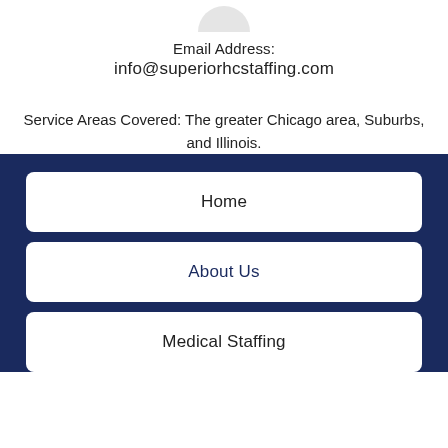Email Address:
info@superiorhcstaffing.com
Service Areas Covered: The greater Chicago area, Suburbs, and Illinois.
Home
About Us
Medical Staffing